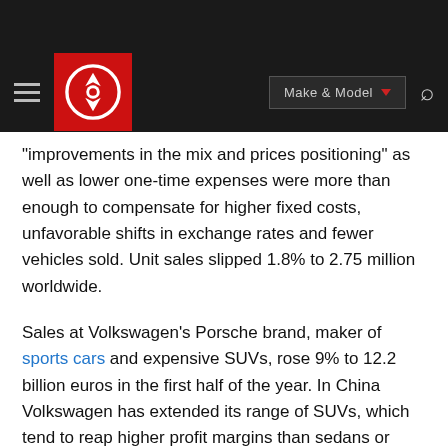Make & Model navigation bar with logo
"improvements in the mix and prices positioning" as well as lower one-time expenses were more than enough to compensate for higher fixed costs, unfavorable shifts in exchange rates and fewer vehicles sold. Unit sales slipped 1.8% to 2.75 million worldwide.
Sales at Volkswagen's Porsche brand, maker of sports cars and expensive SUVs, rose 9% to 12.2 billion euros in the first half of the year. In China Volkswagen has extended its range of SUVs, which tend to reap higher profit margins than sedans or hatchbacks, with the T-Cross and Teramont X.
The company stuck to its outlook for operating return on sales between 6.5-7.5% but said the result would be toward the lower end. For the first half of the year, the